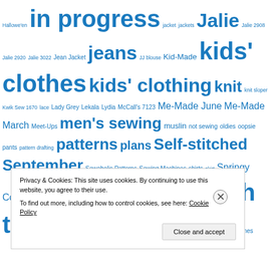Hallowe'en in progress jacket jackets Jalie Jalie 2908 Jalie 2920 Jalie 3022 Jean Jacket jeans JJ blouse Kid-Made kids' clothes kids' clothing knit knit sloper Kwik Sew 1670 lace Lady Grey Lekala Lydia McCall's 7123 Me-Made June Me-Made March Meet-Ups men's sewing muslin not sewing oldies oopsie pants pattern drafting patterns plans Self-stitched September Sewaholic Patterns Sewing Machines shirts skirt Springy Coat sundress tailoring thrift store finds too much talk top tops Victorian clothing vintage Vintage Sewing Machines
Privacy & Cookies: This site uses cookies. By continuing to use this website, you agree to their use.
To find out more, including how to control cookies, see here: Cookie Policy